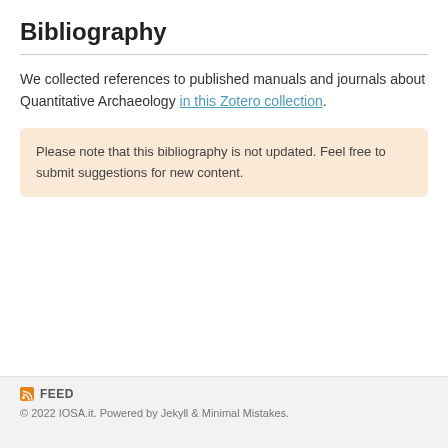Bibliography
We collected references to published manuals and journals about Quantitative Archaeology in this Zotero collection.
Please note that this bibliography is not updated. Feel free to submit suggestions for new content.
FEED
© 2022 IOSA.it. Powered by Jekyll & Minimal Mistakes.